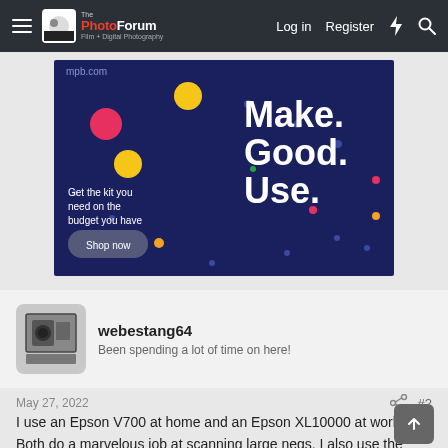The PhotoForum — Log in  Register
[Figure (photo): MPB.com advertisement banner with dark blue background, colorful dots, and text 'Make Good. Use.' with 'Get the kit you need on the budget you have' and a 'Shop now' button]
webestang64
Been spending a lot of time on here!
May 27, 2022
#2
I use an Epson V700 at home and an Epson XL10000 at work. Both do a marvelous job at scanning large negs. I also use the